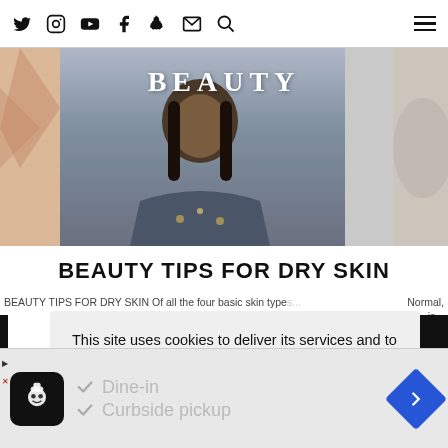Social media icons: Twitter, Instagram, YouTube, Facebook, Snapchat, Email, Search | Hamburger menu
[Figure (photo): Beauty blog header image: woman in floral top with braids, 'BEAUTY' title overlaid, partial images on left and right sides]
BEAUTY TIPS FOR DRY SKIN
BEAUTY TIPS FOR DRY SKIN Of all the four basic skin types... Normal, is...
This site uses cookies to deliver its services and to analyse traffic. By using this site, you agree to its use of cookies. Learn more
[Figure (infographic): Advertisement: restaurant logo icon, checkmarks for Dine-in and Curbside pickup, blue direction arrow icon]